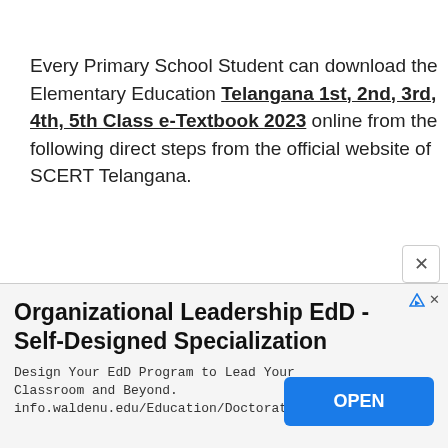Every Primary School Student can download the Elementary Education Telangana 1st, 2nd, 3rd, 4th, 5th Class e-Textbook 2023 online from the following direct steps from the official website of SCERT Telangana.
[Figure (screenshot): Advertisement banner: Organizational Leadership EdD - Self-Designed Specialization. Design Your EdD Program to Lead Your Classroom and Beyond. info.waldenu.edu/Education/Doctorate. With an OPEN button.]